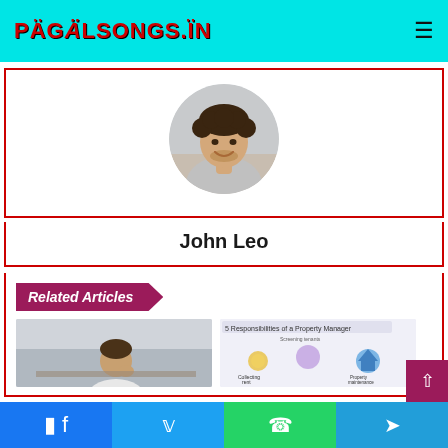PÄGÄLSONGS.ÏN
[Figure (photo): Circular portrait photo of a smiling young man with curly hair, wearing a light grey shirt]
John Leo
Related Articles
[Figure (photo): Thumbnail of a man sitting at a desk thinking, left article preview]
[Figure (infographic): Thumbnail showing '5 Responsibilities of a Property Manager' infographic with icons]
Facebook | Twitter | WhatsApp | Telegram social share bar